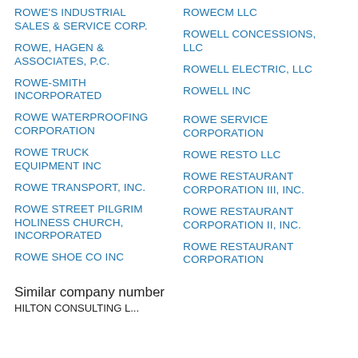ROWE'S INDUSTRIAL SALES & SERVICE CORP.
ROWE, HAGEN & ASSOCIATES, P.C.
ROWE-SMITH INCORPORATED
ROWE WATERPROOFING CORPORATION
ROWE TRUCK EQUIPMENT INC
ROWE TRANSPORT, INC.
ROWE STREET PILGRIM HOLINESS CHURCH, INCORPORATED
ROWE SHOE CO INC
ROWECM LLC
ROWELL CONCESSIONS, LLC
ROWELL ELECTRIC, LLC
ROWELL INC
ROWE SERVICE CORPORATION
ROWE RESTO LLC
ROWE RESTAURANT CORPORATION III, INC.
ROWE RESTAURANT CORPORATION II, INC.
ROWE RESTAURANT CORPORATION
Similar company number
HILTON CONSULTING L...